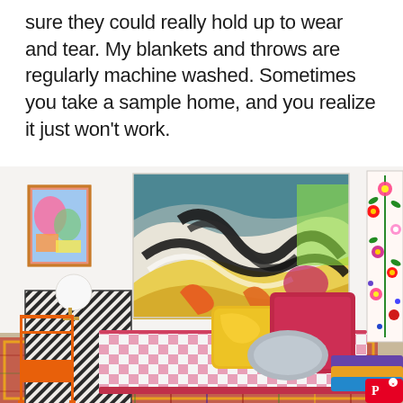sure they could really hold up to wear and tear. My blankets and throws are regularly machine washed. Sometimes you take a sample home, and you realize it just won't work.
[Figure (photo): Interior room photo showing a colorful bedroom with a pink checkered daybed/mattress on the floor, yellow and red/pink pillows, an abstract expressionist painting on the wall, a small framed artwork on the left wall, a striped geometric side table/cabinet, an orange metal chair, a floral embroidered textile hanging on the right wall, and a colorful patterned rug on the floor.]